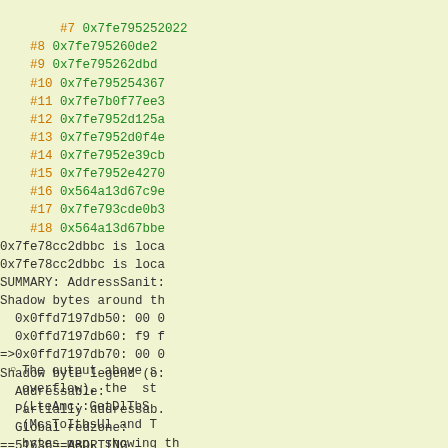[Figure (screenshot): Terminal/console output showing AddressSanitizer stack trace with frame numbers #7 through #18, memory addresses, location info, shadow bytes legend, and ABORTING message]
The output above s overflow), the st (LteAmc::GetDlTbS (McsToItbsUl and T bytes map, showing th